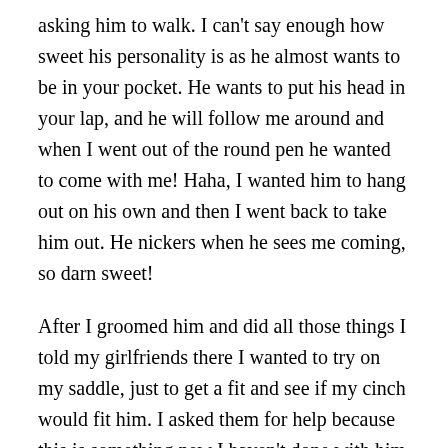asking him to walk. I can't say enough how sweet his personality is as he almost wants to be in your pocket. He wants to put his head in your lap, and he will follow me around and when I went out of the round pen he wanted to come with me! Haha, I wanted him to hang out on his own and then I went back to take him out. He nickers when he sees me coming, so darn sweet!
After I groomed him and did all those things I told my girlfriends there I wanted to try on my saddle, just to get a fit and see if my cinch would fit him. I asked them for help because this is something new I haven't done with him yet and I wanted him to have the best experience possible. I also did not think he has ever had a western saddle on him and they are bigger and heavier so lets